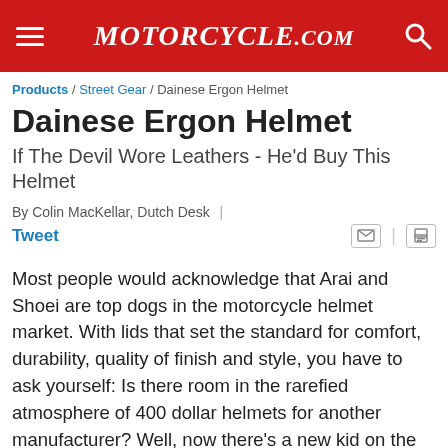MOTORCYCLE.COM
Products / Street Gear / Dainese Ergon Helmet
Dainese Ergon Helmet
If The Devil Wore Leathers - He'd Buy This Helmet
By Colin MacKellar, Dutch Desk
Tweet
Most people would acknowledge that Arai and Shoei are top dogs in the motorcycle helmet market. With lids that set the standard for comfort, durability, quality of finish and style, you have to ask yourself: Is there room in the rarefied atmosphere of 400 dollar helmets for another manufacturer? Well, now there's a new kid on the block muscling in on the act. So confident they are of their product that you won't find their name anywhere on the helmet. Graced by perhaps the most instantly recognized